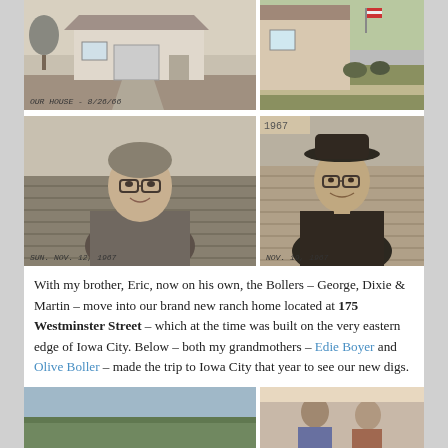[Figure (photo): Black and white photo of a ranch house with driveway, caption 'OUR HOUSE - 8/26/66']
[Figure (photo): Color photo of a house exterior with lawn]
[Figure (photo): Black and white portrait of a woman with glasses outdoors, caption 'SUN. NOV. 12, 1967']
[Figure (photo): Black and white portrait of a man with hat and glasses outdoors, caption 'NOV. 19, 1967']
With my brother, Eric, now on his own, the Bollers – George, Dixie & Martin – move into our brand new ranch home located at 175 Westminster Street – which at the time was built on the very eastern edge of Iowa City. Below – both my grandmothers – Edie Boyer and Olive Boller – made the trip to Iowa City that year to see our new digs.
[Figure (photo): Outdoor landscape photo]
[Figure (photo): Indoor photo of two people]